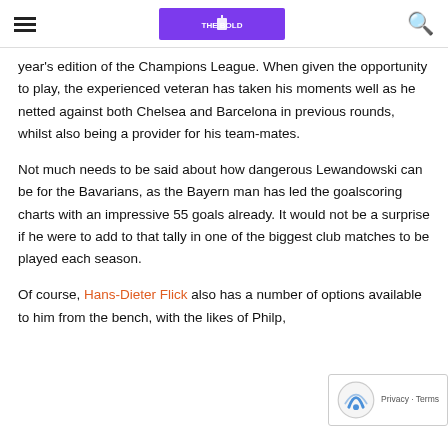[hamburger menu] [The Bold Brief logo] [search icon]
year's edition of the Champions League. When given the opportunity to play, the experienced veteran has taken his moments well as he netted against both Chelsea and Barcelona in previous rounds, whilst also being a provider for his team-mates.
Not much needs to be said about how dangerous Lewandowski can be for the Bavarians, as the Bayern man has led the goalscoring charts with an impressive 55 goals already. It would not be a surprise if he were to add to that tally in one of the biggest club matches to be played each season.
Of course, Hans-Dieter Flick also has a number of options available to him from the bench, with the likes of Philip,